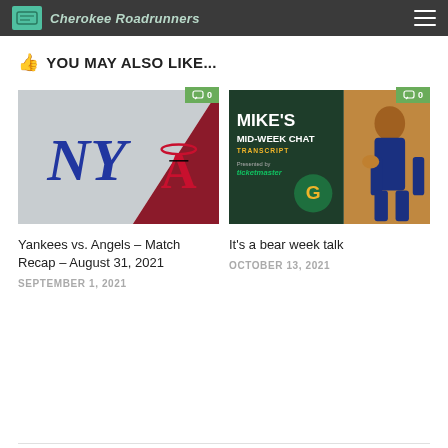Cherokee Roadrunners
YOU MAY ALSO LIKE...
[Figure (photo): Yankees vs Angels logos baseball matchup graphic - NY Yankees logo on grey background, Angels logo on dark red background]
[Figure (photo): Mike's Mid-Week Chat Transcript card with Green Bay Packers logo and a Bears quarterback in action]
Yankees vs. Angels – Match Recap – August 31, 2021
SEPTEMBER 1, 2021
It's a bear week talk
OCTOBER 13, 2021